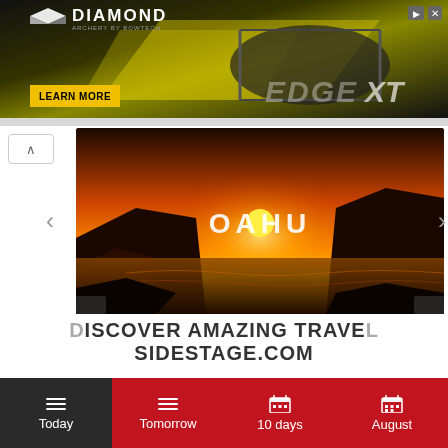[Figure (screenshot): Diamond Archery advertisement banner showing a compound bow (Edge XT model) against a dark background with yellow accent colors. Features LEARN MORE button and DIAMOND ARCHERY logo. Top right has play and close buttons.]
[Figure (photo): Scenic sunset photo of Oahu, Hawaii showing rocky coastline, golden sun setting behind a mountain silhouette, and ocean water. The word 'OAHU' is overlaid in white text in the center.]
DISCOVER AMAZING TRAVEL
SIDESTAGE.COM
Today | Tomorrow | 10 days | August